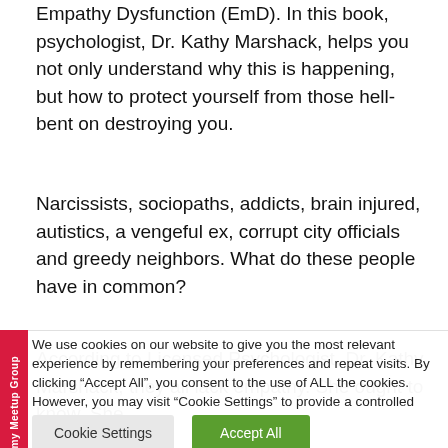Empathy Dysfunction (EmD). In this book, psychologist, Dr. Kathy Marshack, helps you not only understand why this is happening, but how to protect yourself from those hell-bent on destroying you.
Narcissists, sociopaths, addicts, brain injured, autistics, a vengeful ex, corrupt city officials and greedy neighbors. What do these people have in common?
According to Licensed Psychologist, Dr. Kathy Marshack, they all lack empathy. She ought to know. She
Join my Meetup Group
We use cookies on our website to give you the most relevant experience by remembering your preferences and repeat visits. By clicking “Accept All”, you consent to the use of ALL the cookies. However, you may visit “Cookie Settings” to provide a controlled consent.
Cookie Settings
Accept All